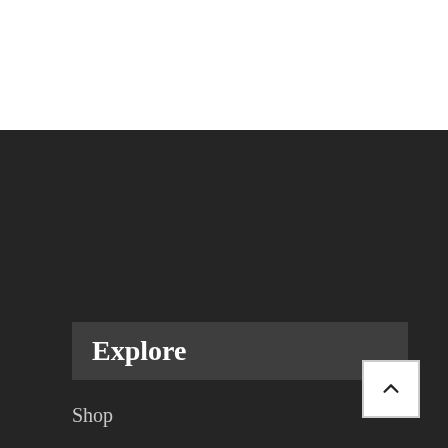Explore
Shop
Products
ZOYA
Naked Manicure